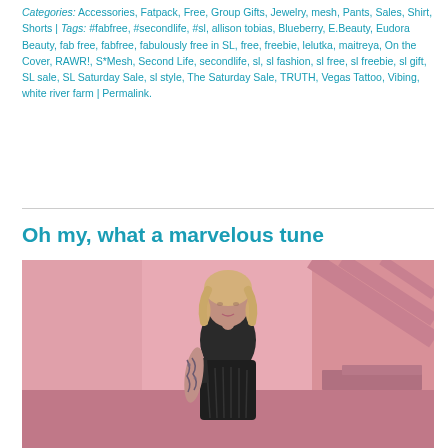Categories: Accessories, Fatpack, Free, Group Gifts, Jewelry, mesh, Pants, Sales, Shirt, Shorts | Tags: #fabfree, #secondlife, #sl, allison tobias, Blueberry, E.Beauty, Eudora Beauty, fab free, fabfree, fabulously free in SL, free, freebie, lelutka, maitreya, On the Cover, RAWR!, S*Mesh, Second Life, secondlife, sl, sl fashion, sl free, sl freebie, sl gift, SL sale, SL Saturday Sale, sl style, The Saturday Sale, TRUTH, Vegas Tattoo, Vibing, white river farm | Permalink.
Oh my, what a marvelous tune
[Figure (photo): A female avatar with blonde hair wearing a black one-shoulder ruched mini dress and sleeve tattoos, standing in a pink room with geometric architectural elements in the background.]